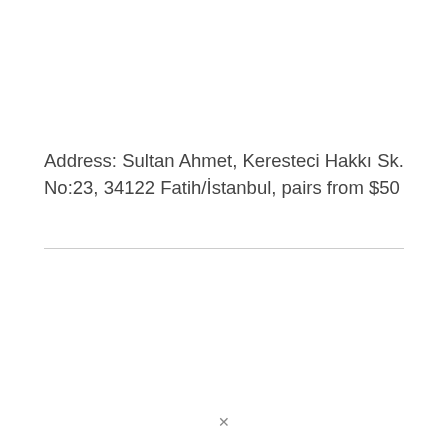Address: Sultan Ahmet, Keresteci Hakkı Sk. No:23, 34122 Fatih/İstanbul, pairs from $50